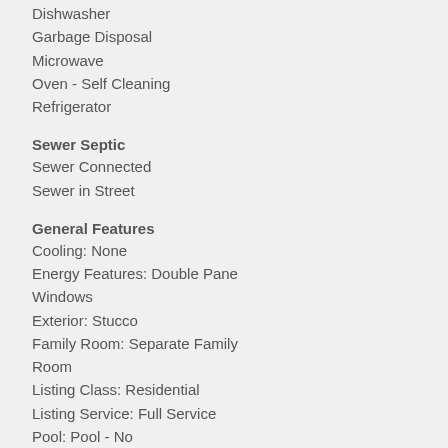Dishwasher
Garbage Disposal
Microwave
Oven - Self Cleaning
Refrigerator
Sewer Septic
Sewer Connected
Sewer in Street
General Features
Cooling: None
Energy Features: Double Pane Windows
Exterior: Stucco
Family Room: Separate Family Room
Listing Class: Residential
Listing Service: Full Service
Pool: Pool - No
Subclass: Single Family Home
View: Bay